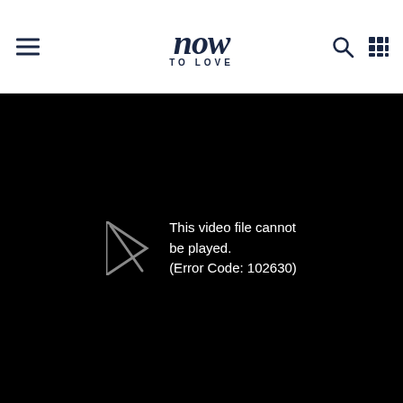now TO LOVE
[Figure (screenshot): Video player showing error: This video file cannot be played. (Error Code: 102630)]